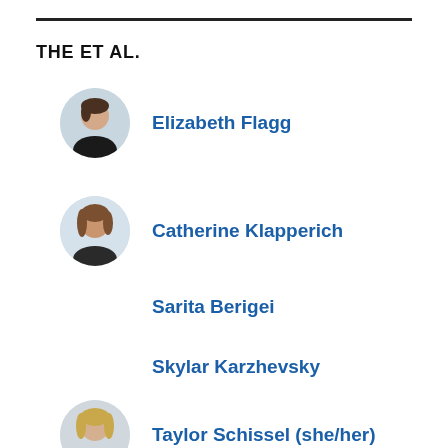THE ET AL.
Elizabeth Flagg
Catherine Klapperich
Sarita Berigei
Skylar Karzhevsky
Taylor Schissel (she/her)